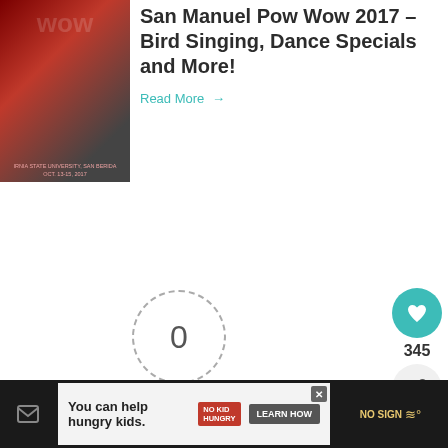[Figure (photo): Thumbnail image for San Manuel Pow Wow 2017 article, dark red background with decorative text]
San Manuel Pow Wow 2017 – Bird Singing, Dance Specials and More!
Read More →
[Figure (infographic): Article rating widget showing 0 rating in a dashed circle, dashes on either side, 'Article Rating' label, and 5 empty grey stars below]
[Figure (infographic): Sidebar with teal heart button showing count 345 and a share button]
WHAT'S NEXT → 'The Power of Native Desig...
[Figure (photo): Small thumbnail photo for What's Next article about The Power of Native Design]
You can help hungry kids.
NO KID HUNGRY
LEARN HOW